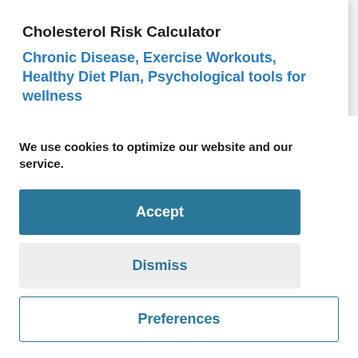Cholesterol Risk Calculator
Chronic Disease, Exercise Workouts, Healthy Diet Plan, Psychological tools for wellness
Cholesterol Risk Calculator: This tool uses your various lipoprotein "cholesterol" saturation levels in order to...
We use cookies to optimize our website and our service.
Accept
Dismiss
Preferences